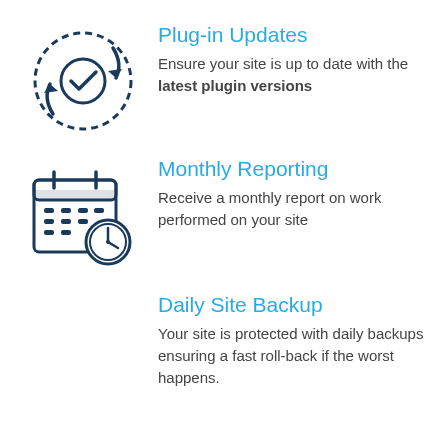[Figure (illustration): Circular arrows update/refresh icon with a checkmark in the center, dark navy blue outline style]
Plug-in Updates
Ensure your site is up to date with the latest plugin versions
[Figure (illustration): Calendar icon with a clock/time overlay in the bottom-right corner, dark navy blue outline style]
Monthly Reporting
Receive a monthly report on work performed on your site
Daily Site Backup
Your site is protected with daily backups ensuring a fast roll-back if the worst happens.